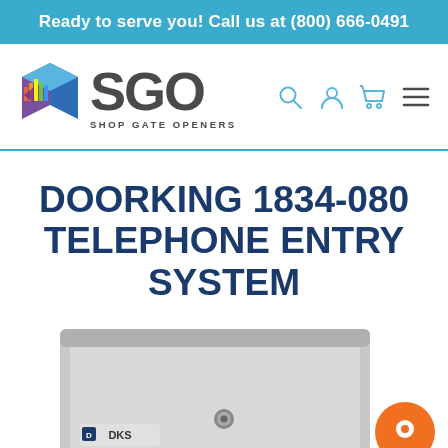Ready to serve you! Call us at (800) 666-0491
[Figure (logo): Shop Gate Openers (SGO) logo with colorful cube icon and navigation icons (search, user, cart, menu)]
DOORKING 1834-080 TELEPHONE ENTRY SYSTEM
[Figure (photo): Bottom portion of a DoorKing telephone entry system device, metallic box with a lock, with an orange chat bubble icon overlay in the bottom right]